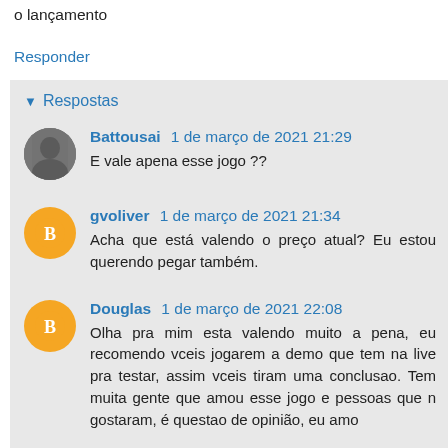o lançamento
Responder
Respostas
Battousai 1 de março de 2021 21:29
E vale apena esse jogo ??
gvoliver 1 de março de 2021 21:34
Acha que está valendo o preço atual? Eu estou querendo pegar também.
Douglas 1 de março de 2021 22:08
Olha pra mim esta valendo muito a pena, eu recomendo vceis jogarem a demo que tem na live pra testar, assim vceis tiram uma conclusao. Tem muita gente que amou esse jogo e pessoas que n gostaram, é questao de opinião, eu amo